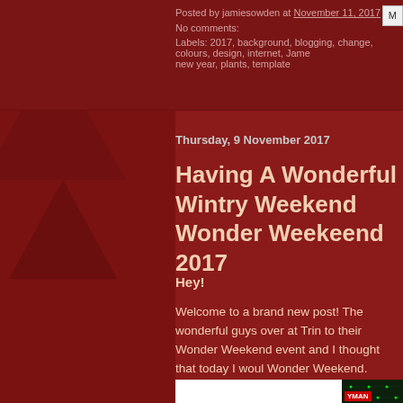Posted by jamiesowden at November 11, 2017   No comments:
Labels: 2017, background, blogging, change, colours, design, internet, Jame new year, plants, template
Thursday, 9 November 2017
Having A Wonderful Wintry Weekend Wonder Weekeend 2017
Hey!
Welcome to a brand new post! The wonderful guys over at Trin to their Wonder Weekend event and I thought that today I woul Wonder Weekend.
[Figure (photo): Christmas lights arranged in a green grid/net pattern over what appears to be a cinema or venue exterior at night, with a neon sign visible at the bottom reading 'YMAN' (likely 'ODEON' cinema). Left portion is white/blank.]